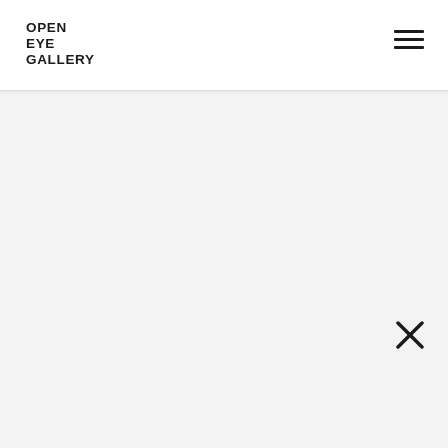OPEN EYE GALLERY
[Figure (screenshot): Hamburger menu icon (three horizontal lines) in the top right of the header]
[Figure (screenshot): Close (X) button icon in the lower right area of the light grey content area]